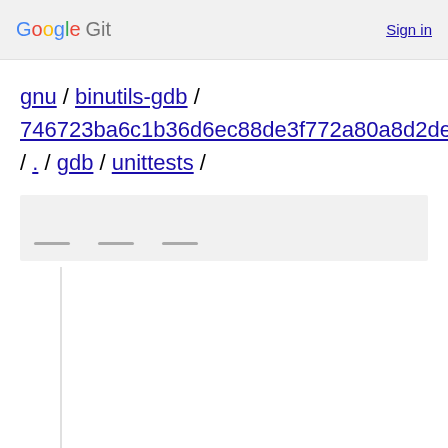Google Git  Sign in
gnu / binutils-gdb / 746723ba6c1b36d6ec88de3f772a80a8d2de6e4d / . / gdb / unittests /